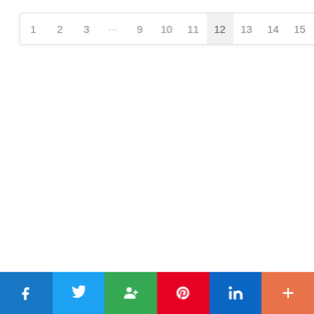[Figure (other): Pagination navigation bar showing page numbers: 1, 2, 3, ..., 9, 10, 11, 12 (active/current), 13, 14, 15, Next, Last]
[Figure (other): Social sharing button bar with icons for Facebook (blue), Twitter (light blue), Google+ (green), Pinterest (red), LinkedIn (blue), More/Plus (orange-red)]